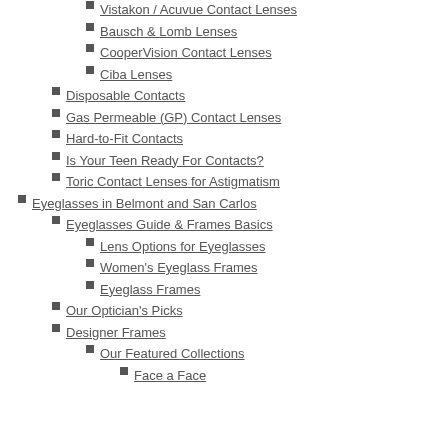Vistakon / Acuvue Contact Lenses
Bausch & Lomb Lenses
CooperVision Contact Lenses
Ciba Lenses
Disposable Contacts
Gas Permeable (GP) Contact Lenses
Hard-to-Fit Contacts
Is Your Teen Ready For Contacts?
Toric Contact Lenses for Astigmatism
Eyeglasses in Belmont and San Carlos
Eyeglasses Guide & Frames Basics
Lens Options for Eyeglasses
Women's Eyeglass Frames
Eyeglass Frames
Our Optician's Picks
Designer Frames
Our Featured Collections
Face a Face